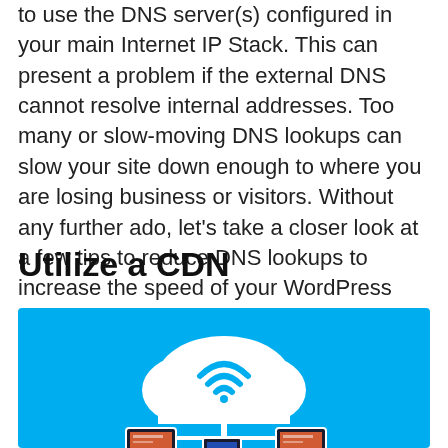to use the DNS server(s) configured in your main Internet IP Stack. This can present a problem if the external DNS cannot resolve internal addresses. Too many or slow-moving DNS lookups can slow your site down enough to where you are losing business or visitors. Without any further ado, let's take a closer look at a few tips to reduce DNS lookups to increase the speed of your WordPress site.
Utilize a CDN
[Figure (illustration): CDN illustration: light blue background with a white cloud icon containing a teal WiFi/signal symbol, connected to multiple devices below (monitor, tablet, phone) via network lines, representing content delivery network concept.]